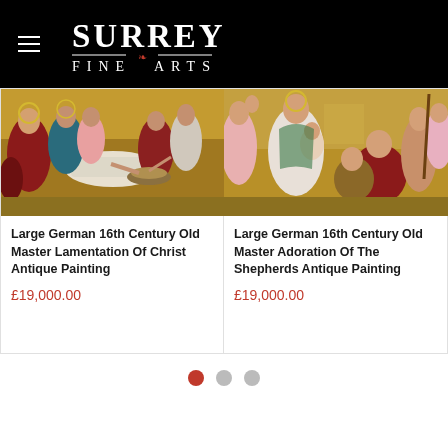Surrey Fine Arts
[Figure (photo): Large German 16th Century Old Master Lamentation Of Christ antique painting showing figures around a recumbent Christ]
Large German 16th Century Old Master Lamentation Of Christ Antique Painting
£19,000.00
[Figure (photo): Large German 16th Century Old Master Adoration Of The Shepherds antique painting showing robed figures and the nativity scene]
Large German 16th Century Old Master Adoration Of The Shepherds Antique Painting
£19,000.00